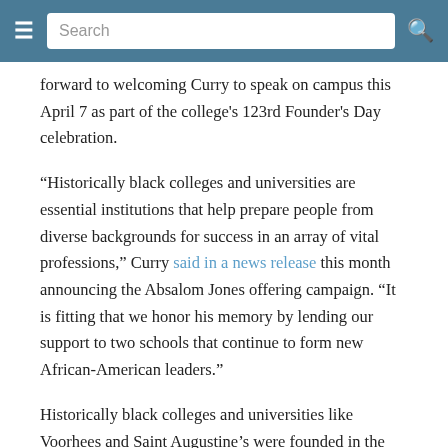Navigation bar with hamburger menu, search box, and search icon
forward to welcoming Curry to speak on campus this April 7 as part of the college's 123rd Founder's Day celebration.
“Historically black colleges and universities are essential institutions that help prepare people from diverse backgrounds for success in an array of vital professions,” Curry said in a news release this month announcing the Absalom Jones offering campaign. “It is fitting that we honor his memory by lending our support to two schools that continue to form new African-American leaders.”
Historically black colleges and universities like Voorhees and Saint Augustine’s were founded in the post-Civil War period to provide educational opportunities to black men and women who were excluded from white institutions of higher learning because of segregation. Saint Augustine’s